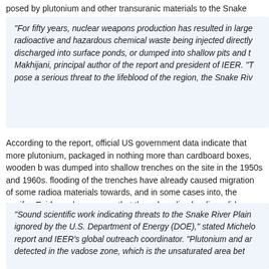posed by plutonium and other transuranic materials to the Snake Rive
“For fifty years, nuclear weapons production has resulted in large radioactive and hazardous chemical waste being injected directly discharged into surface ponds, or dumped into shallow pits and t Makhijani, principal author of the report and president of IEER. “T pose a serious threat to the lifeblood of the region, the Snake Riv
According to the report, official US government data indicate that more plutonium, packaged in nothing more than cardboard boxes, wooden b was dumped into shallow trenches on the site in the 1950s and 1960s. flooding of the trenches have already caused migration of some radioa materials towards, and in some cases into, the aquifer. Evidence has years that these long-lived radionuclides are migrating through the va much faster than anticipated.
“Sound scientific work indicating threats to the Snake River Plain ignored by the U.S. Department of Energy (DOE),” stated Michelo report and IEER’s global outreach coordinator. “Plutonium and ar detected in the vadose zone, which is the unsaturated area bet